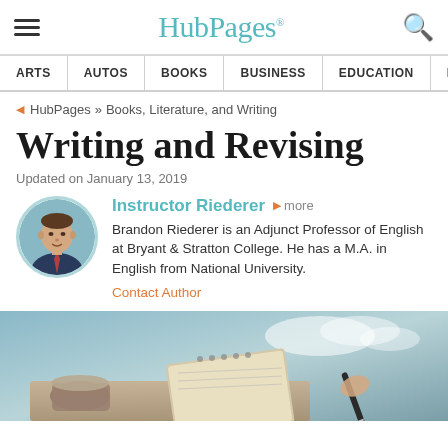HubPages
ARTS | AUTOS | BOOKS | BUSINESS | EDUCATION | ENTERTA...
HubPages » Books, Literature, and Writing
Writing and Revising
Updated on January 13, 2019
Instructor Riederer ▶ more
Brandon Riederer is an Adjunct Professor of English at Bryant & Stratton College. He has a M.A. in English from National University.
Contact Author
[Figure (photo): Photo of a notebook and pen on a desk, used as hero image for the Writing and Revising article]